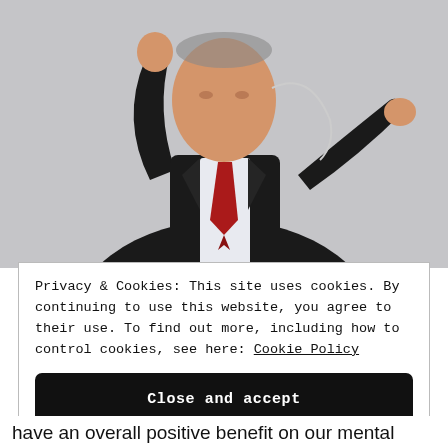[Figure (photo): A man in a dark suit with a red tie, raising his fists in a celebratory or energetic pose against a light grey background. He appears to be an older male, photographed from about the waist up.]
Privacy & Cookies: This site uses cookies. By continuing to use this website, you agree to their use. To find out more, including how to control cookies, see here: Cookie Policy
Close and accept
have an overall positive benefit on our mental